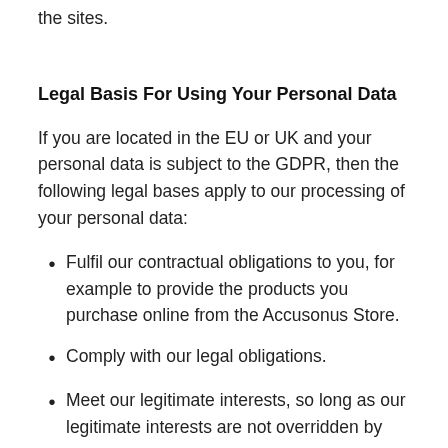the sites.
Legal Basis For Using Your Personal Data
If you are located in the EU or UK and your personal data is subject to the GDPR, then the following legal bases apply to our processing of your personal data:
Fulfil our contractual obligations to you, for example to provide the products you purchase online from the Accusonus Store.
Comply with our legal obligations.
Meet our legitimate interests, so long as our legitimate interests are not overridden by your